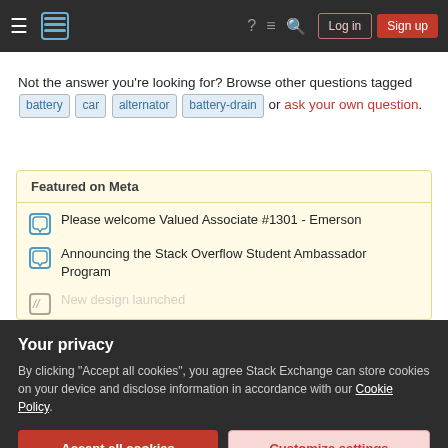Stack Exchange navigation header with Login and Sign up buttons
Not the answer you're looking for? Browse other questions tagged battery car alternator battery-drain or ask your own question.
Featured on Meta
Please welcome Valued Associate #1301 - Emerson
Announcing the Stack Overflow Student Ambassador Program
New design launched
Your privacy
By clicking "Accept all cookies", you agree Stack Exchange can store cookies on your device and disclose information in accordance with our Cookie Policy.
Accept all cookies  Customize settings
5  Can an 18V 5W Solar Panel Provide an Equalizing Charge for a ...